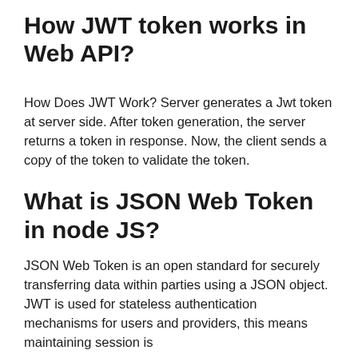How JWT token works in Web API?
How Does JWT Work? Server generates a Jwt token at server side. After token generation, the server returns a token in response. Now, the client sends a copy of the token to validate the token.
What is JSON Web Token in node JS?
JSON Web Token is an open standard for securely transferring data within parties using a JSON object. JWT is used for stateless authentication mechanisms for users and providers, this means maintaining session is